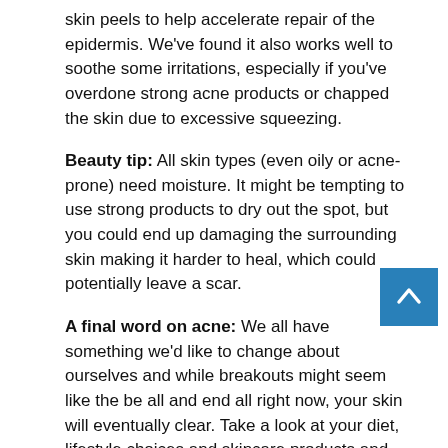skin peels to help accelerate repair of the epidermis. We've found it also works well to soothe some irritations, especially if you've overdone strong acne products or chapped the skin due to excessive squeezing.
Beauty tip: All skin types (even oily or acne-prone) need moisture. It might be tempting to use strong products to dry out the spot, but you could end up damaging the surrounding skin making it harder to heal, which could potentially leave a scar.
A final word on acne: We all have something we'd like to change about ourselves and while breakouts might seem like the be all and end all right now, your skin will eventually clear. Take a look at your diet, lifestyle choices and skincare products and make the changes accordingly. If the problem persists, book in with a dermatologist to seek professional advice.
Article Source: https://www.malloftheemirates.com/blo